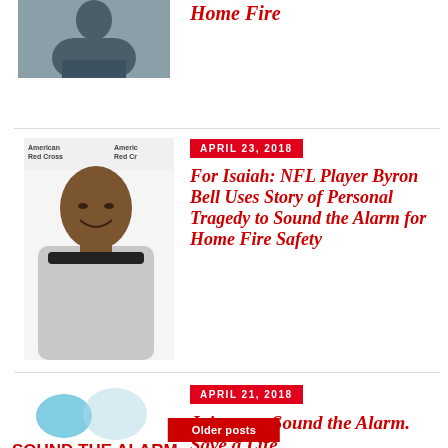[Figure (photo): Person standing outdoors wearing a dark jacket, partially cropped at top]
Home Fire
[Figure (photo): NFL player Byron Bell smiling, posed in front of American Red Cross backdrop]
APRIL 23, 2018
For Isaiah: NFL Player Byron Bell Uses Story of Personal Tragedy to Sound the Alarm for Home Fire Safety
[Figure (logo): Sound the Alarm, Save a Life — American Red Cross logo/campaign graphic]
APRIL 21, 2018
Join us to Sound the Alarm. Save a Life.
Older posts